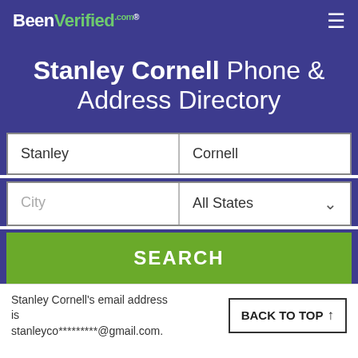BeenVerified.com
Stanley Cornell Phone & Address Directory
Stanley | Cornell
City | All States
SEARCH
Stanley Cornell's email address is stanleyco*********@gmail.com.
BACK TO TOP ↑